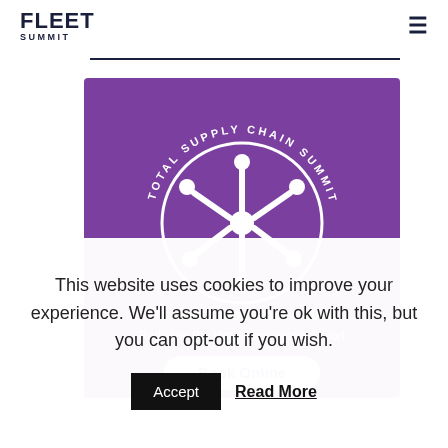FLEET SUMMIT
[Figure (logo): Total Supply Chain Summit logo and event banner. Purple background with circular supply chain network logo. Text: 7th & 8th November 2022, Radisson Blu Hotel Manchester Airport. Book Online button.]
This website uses cookies to improve your experience. We'll assume you're ok with this, but you can opt-out if you wish.
Accept   Read More